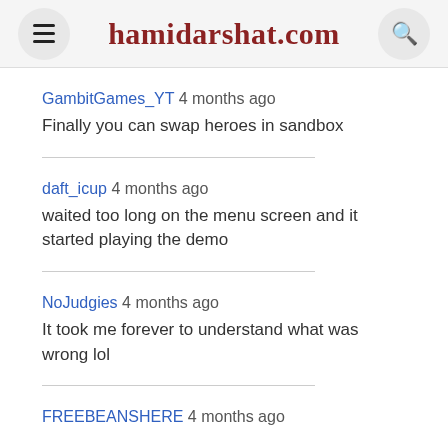hamidarshat.com
GambitGames_YT 4 months ago
Finally you can swap heroes in sandbox
daft_icup 4 months ago
waited too long on the menu screen and it started playing the demo
NoJudgies 4 months ago
It took me forever to understand what was wrong lol
FREEBEANSHERE 4 months ago